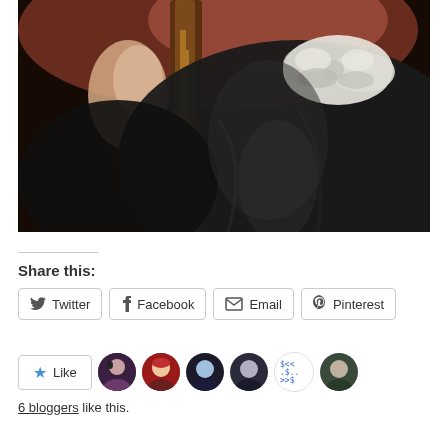[Figure (photo): Close-up detail of a classical oil painting showing a person in dark clothing holding a violin/cello neck, with a white bow/ribbon visible at the collar, dark dramatic background]
Share this:
Twitter  Facebook  Email  Pinterest
Like
6 bloggers like this.